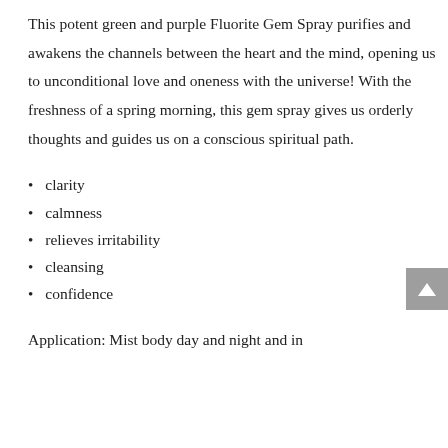This potent green and purple Fluorite Gem Spray purifies and awakens the channels between the heart and the mind, opening us to unconditional love and oneness with the universe! With the freshness of a spring morning, this gem spray gives us orderly thoughts and guides us on a conscious spiritual path.
clarity
calmness
relieves irritability
cleansing
confidence
Application: Mist body day and night and in